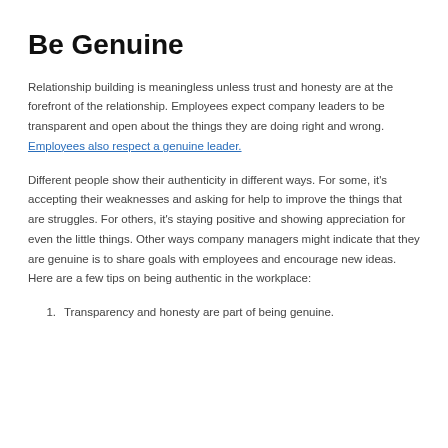Be Genuine
Relationship building is meaningless unless trust and honesty are at the forefront of the relationship. Employees expect company leaders to be transparent and open about the things they are doing right and wrong. Employees also respect a genuine leader.
Different people show their authenticity in different ways. For some, it's accepting their weaknesses and asking for help to improve the things that are struggles. For others, it’s staying positive and showing appreciation for even the little things. Other ways company managers might indicate that they are genuine is to share goals with employees and encourage new ideas. Here are a few tips on being authentic in the workplace:
Transparency and honesty are part of being genuine.